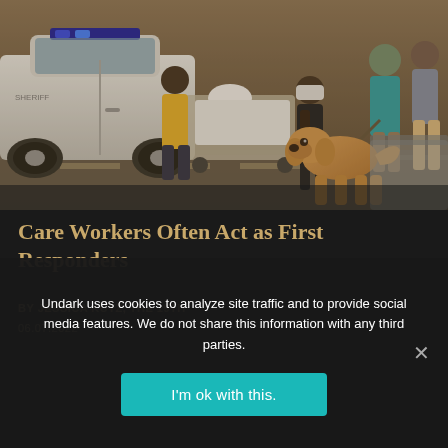[Figure (photo): Emergency scene showing a patient being transported on a gurney/wheelchair with a golden Labrador dog nearby, a white police car in the background, multiple people including care workers and responders, smoky outdoor environment.]
Care Workers Often Act as First Responders
BY JESSICA KUTZ, THE 19TH
06.07.2022
Undark uses cookies to analyze site traffic and to provide social media features. We do not share this information with any third parties.
I'm ok with this.